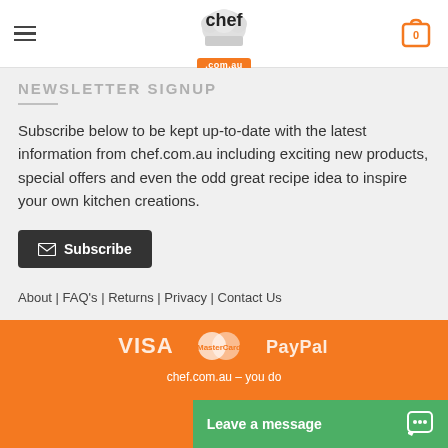chef.com.au
NEWSLETTER SIGNUP
Subscribe below to be kept up-to-date with the latest information from chef.com.au including exciting new products, special offers and even the odd great recipe idea to inspire your own kitchen creations.
Subscribe
About | FAQ's | Returns | Privacy | Contact Us
[Figure (logo): VISA, Mastercard, and PayPal payment icons on orange background]
chef.com.au – you do
Leave a message